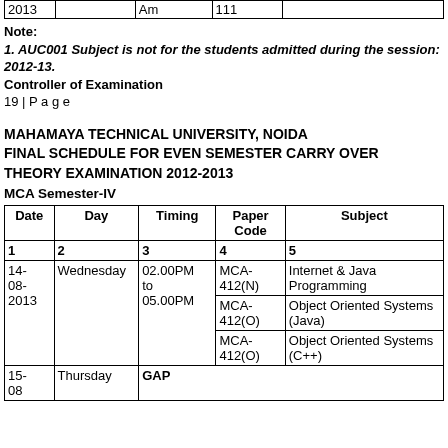| Date/Code | Day/blank | Timing/Am | Paper Code/111 | Subject/blank |
| --- | --- | --- | --- | --- |
| 2013 |  | Am | 111 |  |
Note:
1. AUC001 Subject is not for the students admitted during the session: 2012-13.
Controller of Examination
19 | P a g e
MAHAMAYA TECHNICAL UNIVERSITY, NOIDA
FINAL SCHEDULE FOR EVEN SEMESTER CARRY OVER
THEORY EXAMINATION 2012-2013
MCA Semester-IV
| Date | Day | Timing | Paper Code | Subject |
| --- | --- | --- | --- | --- |
| 1 | 2 | 3 | 4 | 5 |
| 14-08-2013 | Wednesday | 02.00PM to 05.00PM | MCA-412(N) | Internet & Java Programming |
|  |  |  | MCA-412(O) | Object Oriented Systems (Java) |
|  |  |  | MCA-412(O) | Object Oriented Systems (C++) |
| 15-08 | Thursday | GAP |  |  |